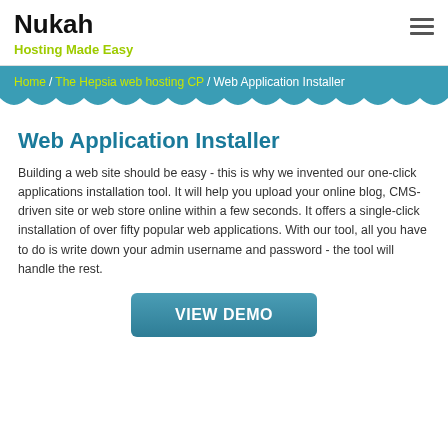Nukah
Hosting Made Easy
Home / The Hepsia web hosting CP / Web Application Installer
Web Application Installer
Building a web site should be easy - this is why we invented our one-click applications installation tool. It will help you upload your online blog, CMS-driven site or web store online within a few seconds. It offers a single-click installation of over fifty popular web applications. With our tool, all you have to do is write down your admin username and password - the tool will handle the rest.
VIEW DEMO